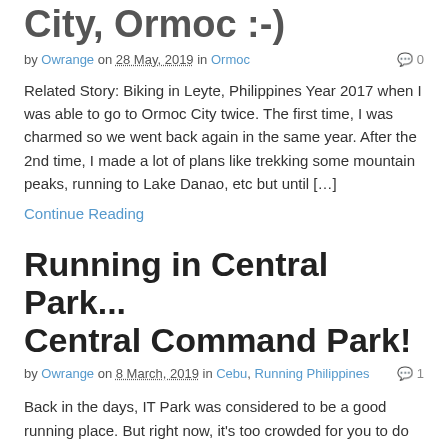City, Ormoc :-)
by Owrange on 28 May, 2019 in Ormoc   💬 0
Related Story: Biking in Leyte, Philippines Year 2017 when I was able to go to Ormoc City twice. The first time, I was charmed so we went back again in the same year. After the 2nd time, I made a lot of plans like trekking some mountain peaks, running to Lake Danao, etc but until […]
Continue Reading
Running in Central Park... Central Command Park!
by Owrange on 8 March, 2019 in Cebu, Running Philippines   💬 1
Back in the days, IT Park was considered to be a good running place. But right now, it's too crowded for you to do any running / walking. My fastest 3KM was recorded in IT